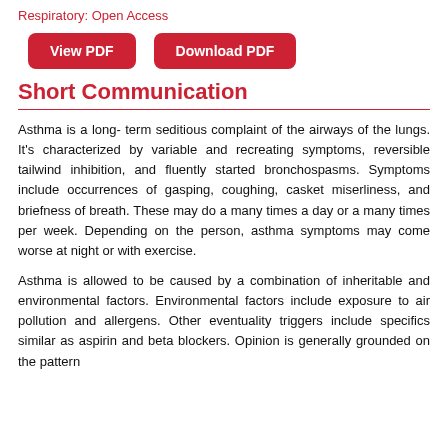Respiratory: Open Access
[Figure (other): Two red rounded rectangle buttons: 'View PDF' and 'Download PDF']
Short Communication
Asthma is a long- term seditious complaint of the airways of the lungs. It's characterized by variable and recreating symptoms, reversible tailwind inhibition, and fluently started bronchospasms. Symptoms include occurrences of gasping, coughing, casket miserliness, and briefness of breath. These may do a many times a day or a many times per week. Depending on the person, asthma symptoms may come worse at night or with exercise.
Asthma is allowed to be caused by a combination of inheritable and environmental factors. Environmental factors include exposure to air pollution and allergens. Other eventuality triggers include specifics similar as aspirin and beta blockers. Opinion is generally grounded on the pattern